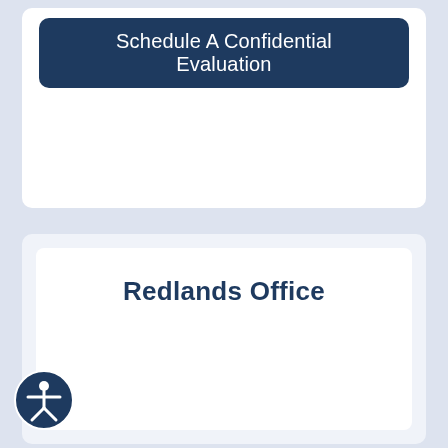Schedule A Confidential Evaluation
Redlands Office